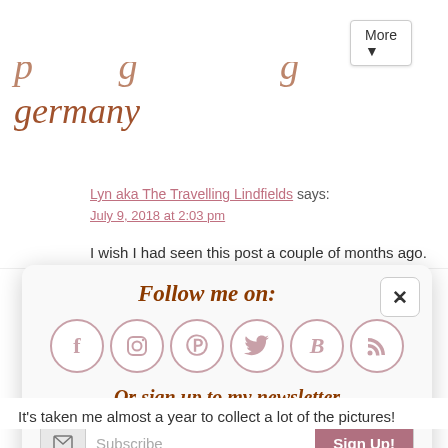More ▼
germany
Lyn aka The Travelling Lindfields says:
July 9, 2018 at 2:03 pm
I wish I had seen this post a couple of months ago.
[Figure (infographic): Modal popup titled 'Follow me on:' with social media icons (Facebook, Instagram, Pinterest, Twitter, Bloglovin, RSS) and a newsletter signup form with a 'Subscribe' input and 'Sign Up!' button. Has a close (x) button.]
It's taken me almost a year to collect a lot of the pictures!